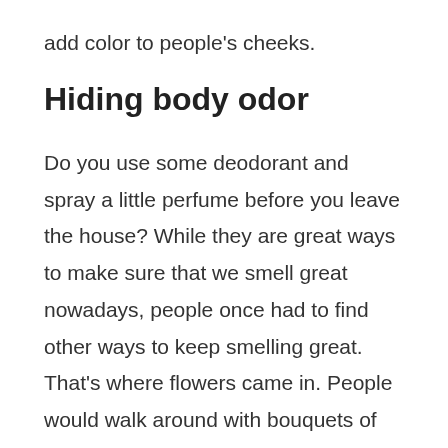add color to people's cheeks.
Hiding body odor
Do you use some deodorant and spray a little perfume before you leave the house? While they are great ways to make sure that we smell great nowadays, people once had to find other ways to keep smelling great. That's where flowers came in. People would walk around with bouquets of flowers to